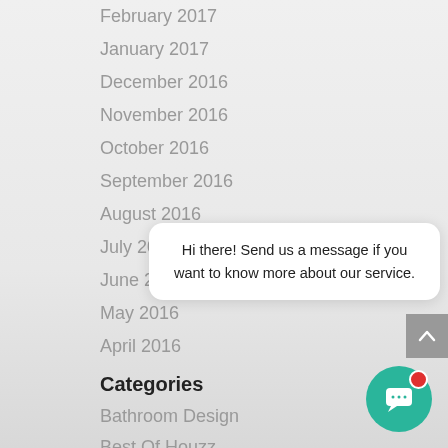February 2017
January 2017
December 2016
November 2016
October 2016
September 2016
August 2016
July 2016
June 2016
May 2016
April 2016
Categories
Bathroom Design
Best Of Houzz
Blanco
Cabinets
Hi there! Send us a message if you want to know more about our service.